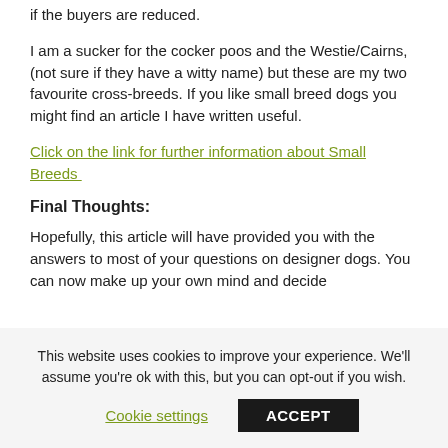if the buyers are reduced.
I am a sucker for the cocker poos and the Westie/Cairns, (not sure if they have a witty name) but these are my two favourite cross-breeds. If you like small breed dogs you might find an article I have written useful.
Click on the link for further information about Small Breeds
Final Thoughts:
Hopefully, this article will have provided you with the answers to most of your questions on designer dogs. You can now make up your own mind and decide
This website uses cookies to improve your experience. We'll assume you're ok with this, but you can opt-out if you wish.
Cookie settings  ACCEPT